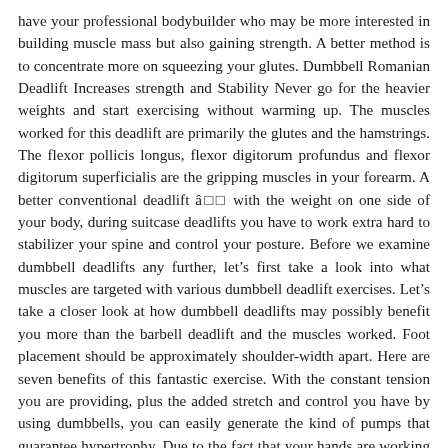have your professional bodybuilder who may be more interested in building muscle mass but also gaining strength. A better method is to concentrate more on squeezing your glutes. Dumbbell Romanian Deadlift Increases strength and Stability Never go for the heavier weights and start exercising without warming up. The muscles worked for this deadlift are primarily the glutes and the hamstrings. The flexor pollicis longus, flexor digitorum profundus and flexor digitorum superficialis are the gripping muscles in your forearm. A better conventional deadlift â□□ with the weight on one side of your body, during suitcase deadlifts you have to work extra hard to stabilizer your spine and control your posture. Before we examine dumbbell deadlifts any further, let’s first take a look into what muscles are targeted with various dumbbell deadlift exercises. Let’s take a closer look at how dumbbell deadlifts may possibly benefit you more than the barbell deadlift and the muscles worked. Foot placement should be approximately shoulder-width apart. Here are seven benefits of this fantastic exercise. With the constant tension you are providing, plus the added stretch and control you have by using dumbbells, you can easily generate the kind of pumps that guarantee hypertrophy. Due to the fact that your hands are working independently, gripping dumbbells is harder than gripping a barbell. While keeping your back and head in a neutral position at all